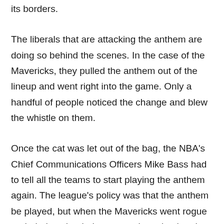its borders.
The liberals that are attacking the anthem are doing so behind the scenes. In the case of the Mavericks, they pulled the anthem out of the lineup and went right into the game. Only a handful of people noticed the change and blew the whistle on them.
Once the cat was let out of the bag, the NBA's Chief Communications Officers Mike Bass had to tell all the teams to start playing the anthem again. The league's policy was that the anthem be played, but when the Mavericks went rogue and tried to shut it down, people noticed and demanded that something is done. So now, the issue has been written in stone in state law.
Ron DeSantis, with his patriotism, is keeping Floridians free from the onslaught of liberal attacks. And now that a bill is